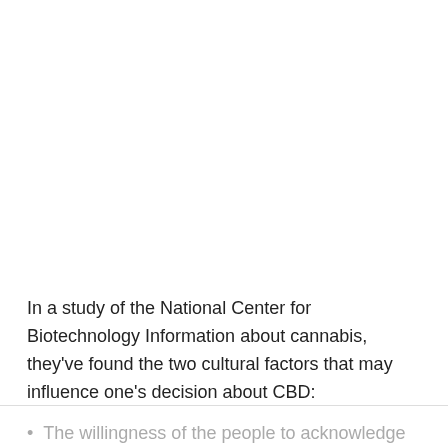In a study of the National Center for Biotechnology Information about cannabis, they've found the two cultural factors that may influence one's decision about CBD:
The willingness of the people to acknowledge the